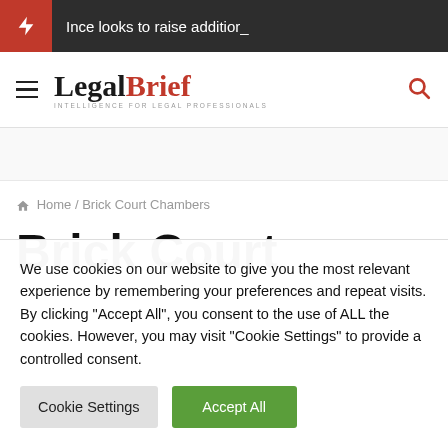Ince looks to raise addition_
[Figure (logo): LegalBrief logo with tagline INTELLIGENCE FOR LEGAL PROFESSIONALS]
Home / Brick Court Chambers
Brick Court
We use cookies on our website to give you the most relevant experience by remembering your preferences and repeat visits. By clicking "Accept All", you consent to the use of ALL the cookies. However, you may visit "Cookie Settings" to provide a controlled consent.
Cookie Settings   Accept All